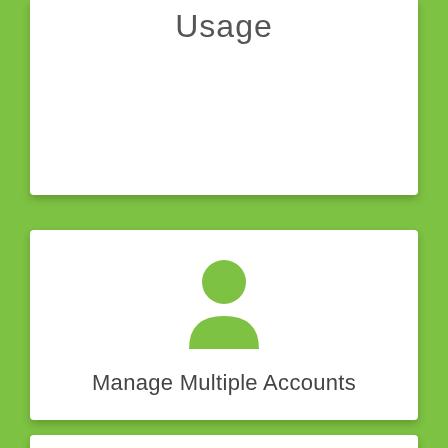Usage
[Figure (illustration): A green person/user silhouette icon centered on a white card, with text 'Manage Multiple Accounts' below it]
Manage Multiple Accounts